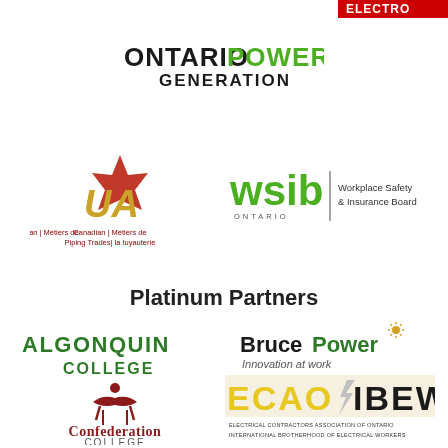[Figure (logo): Partially visible red logo in top right corner]
[Figure (logo): Ontario Power Generation logo with ONTARIO in black bold and POWER in green bold and GENERATION in black]
[Figure (logo): UA Canadian / Metiers de Piping Trades / la tuyauterie logo with gold letters and red maple leaf]
[Figure (logo): WSIB Ontario Workplace Safety & Insurance Board logo]
Platinum Partners
[Figure (logo): Algonquin College logo in green]
[Figure (logo): Bruce Power Innovation at work logo]
[Figure (logo): Confederation College logo]
[Figure (logo): ECAO IBEW Electrical Contractors Association of Ontario / International Brotherhood of Electrical Workers logo]